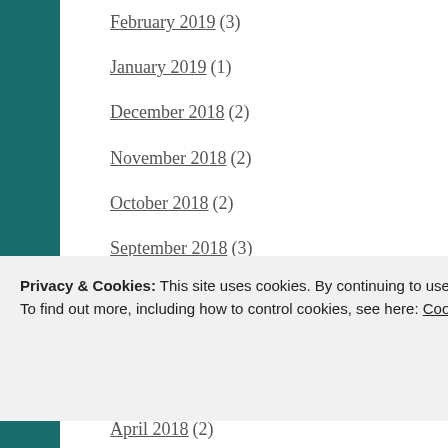February 2019 (3)
January 2019 (1)
December 2018 (2)
November 2018 (2)
October 2018 (2)
September 2018 (3)
August 2018 (1)
July 2018 (3)
May 2018 (1)
April 2018 (2)
March 2018 (6)
January 2018 (1)
Privacy & Cookies: This site uses cookies. By continuing to use this website, you agree to their use. To find out more, including how to control cookies, see here: Cookie Policy
Close and accept